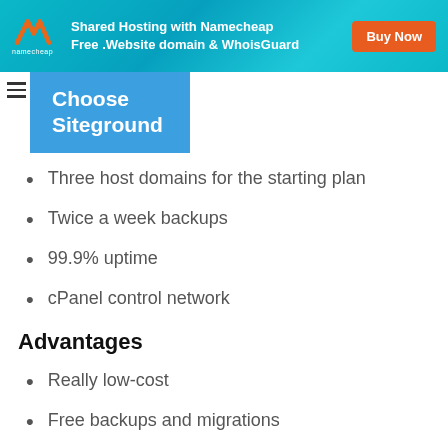[Figure (infographic): Namecheap banner ad: Shared Hosting with Namecheap, Free .Website domain & WhoisGuard, Buy Now button]
Choose Siteground
Three host domains for the starting plan
Twice a week backups
99.9% uptime
cPanel control network
Advantages
Really low-cost
Free backups and migrations
Free SSL